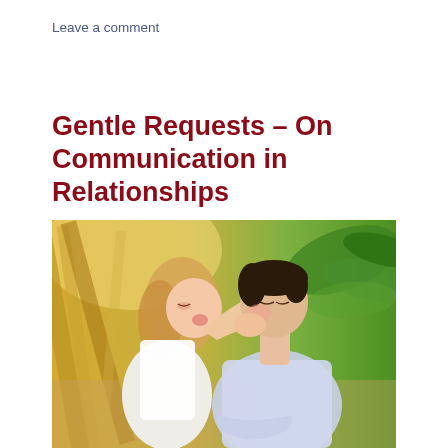Leave a comment
Gentle Requests – On Communication in Relationships
[Figure (photo): A woman in a white dress kissing a man on the cheek while holding his face, outdoors with tropical greenery in the background.]